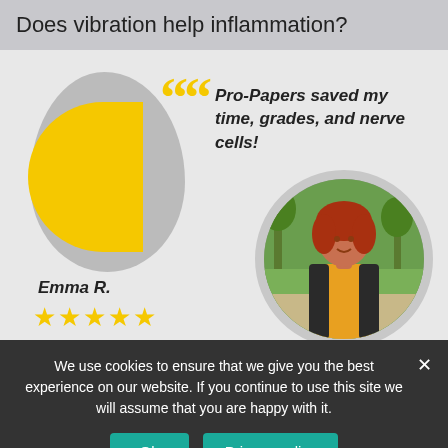Does vibration help inflammation?
[Figure (illustration): Testimonial graphic with grey blob shape, yellow half-circle, large yellow quotation marks, italic bold quote text reading 'Pro-Papers saved my time, grades, and nerve cells!', a circular photo of a red-haired woman in a yellow top, the name 'Emma R.' and five gold stars below.]
We use cookies to ensure that we give you the best experience on our website. If you continue to use this site we will assume that you are happy with it.
Ok   Privacy policy